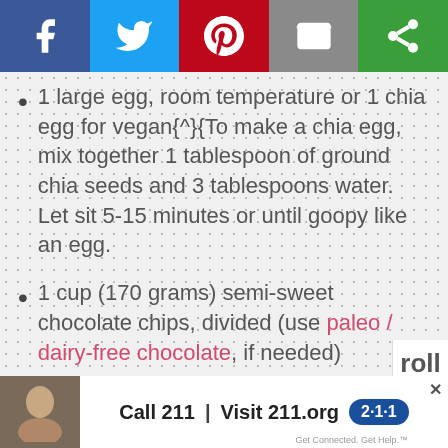[Figure (other): Social share bar with Facebook, Twitter, Pinterest, Email, and a green share button]
1 large egg, room temperature or 1 chia egg for vegan{^}{To make a chia egg, mix together 1 tablespoon of ground chia seeds and 3 tablespoons water. Let sit 5-15 minutes or until goopy like an egg.
1 cup (170 grams) semi-sweet chocolate chips, divided (use paleo / dairy-free chocolate, if needed)
[Figure (other): Advertisement: Call 211 | Visit 211.org with 2-1-1 badge and child photo]